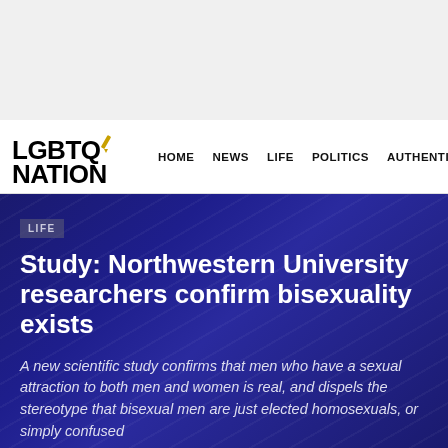LGBTQ NATION | HOME | NEWS | LIFE | POLITICS | AUTHENTIC
Study: Northwestern University researchers confirm bisexuality exists
A new scientific study confirms that men who have a sexual attraction to both men and women is real, and dispels the stereotype that bisexual men are just elected homosexuals, or simply confused